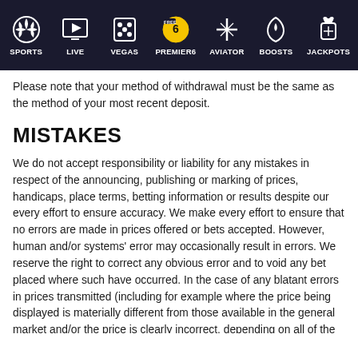SPORTS | LIVE | VEGAS | PREMIER6 | AVIATOR | BOOSTS | JACKPOTS
Please note that your method of withdrawal must be the same as the method of your most recent deposit.
MISTAKES
We do not accept responsibility or liability for any mistakes in respect of the announcing, publishing or marking of prices, handicaps, place terms, betting information or results despite our every effort to ensure accuracy. We make every effort to ensure that no errors are made in prices offered or bets accepted. However, human and/or systems' error may occasionally result in errors. We reserve the right to correct any obvious error and to void any bet placed where such have occurred. In the case of any blatant errors in prices transmitted (including for example where the price being displayed is materially different from those available in the general market and/or the price is clearly incorrect, depending on all of the circumstances), bets will be settled at the correct price at the time of acceptance. If a bet is